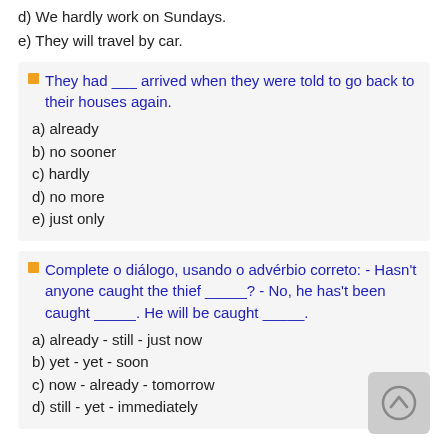d) We hardly work on Sundays.
e) They will travel by car.
They had ___ arrived when they were told to go back to their houses again.
a) already
b) no sooner
c) hardly
d) no more
e) just only
Complete o diálogo, usando o advérbio correto: - Hasn't anyone caught the thief _____? - No, he has't been caught _____. He will be caught _____.
a) already - still - just now
b) yet - yet - soon
c) now - already - tomorrow
d) still - yet - immediately